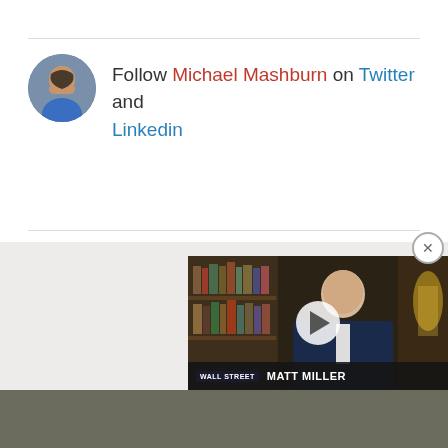Follow Michael Mashburn on Twitter and Linkedin
[Figure (photo): Video thumbnail showing a man in a dark suit (Matt Miller) in front of a bookshelf, with a play button overlay and a lower bar reading WALL STREET / MATT MILLER]